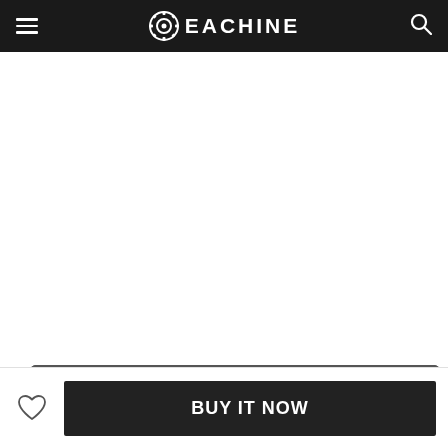EACHINE
[Figure (photo): Top-down view of Eachine FPV monitor showing port labels: AV OUT, TF CARD, AV IN, DC+12V]
[Figure (photo): Side view of Eachine FPV monitor/receiver showing ports on bottom edge: AV OUT, TF CARD slot, AV IN, DC+12V power jack]
BUY IT NOW